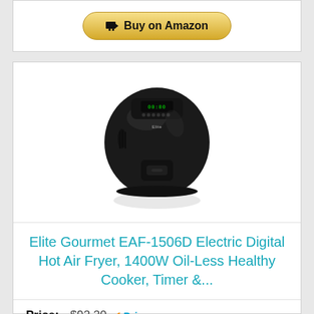[Figure (other): Buy on Amazon button (top)]
[Figure (photo): Elite Gourmet EAF-1506D Electric Digital Hot Air Fryer product photo — a round black air fryer with digital display on top]
Elite Gourmet EAF-1506D Electric Digital Hot Air Fryer, 1400W Oil-Less Healthy Cooker, Timer &...
Price: $92.20 ✓Prime
[Figure (other): Buy on Amazon button (bottom)]